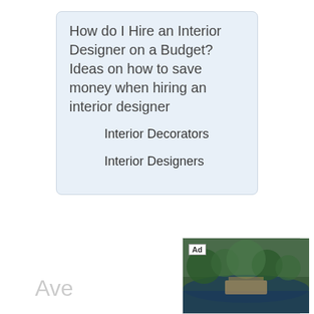How do I Hire an Interior Designer on a Budget? Ideas on how to save money when hiring an interior designer
Interior Decorators
Interior Designers
[Figure (screenshot): Advertisement banner for Hotels.com with forest/lake scenic image, 'Find Your Match' text, and 'BOOK NOW' call to action button]